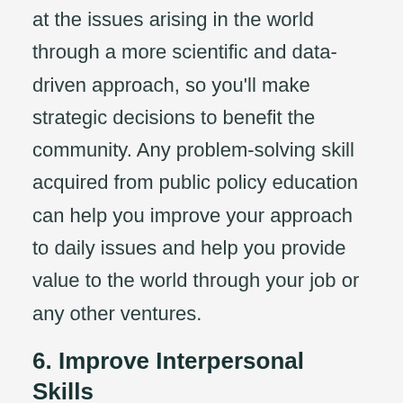at the issues arising in the world through a more scientific and data-driven approach, so you'll make strategic decisions to benefit the community. Any problem-solving skill acquired from public policy education can help you improve your approach to daily issues and help you provide value to the world through your job or any other ventures.
6. Improve Interpersonal Skills
Public policy is all about managing various areas of public dealing. As much as it improves research and analytical skills, it also helps an individual become their best version in